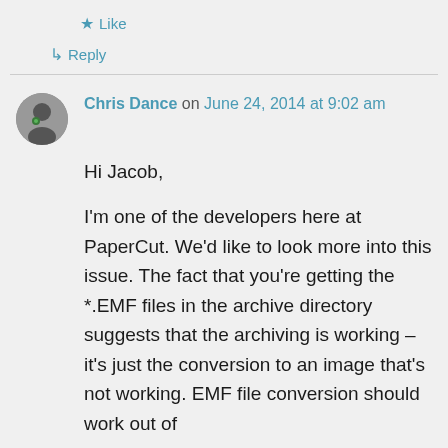★ Like
↳ Reply
Chris Dance on June 24, 2014 at 9:02 am
Hi Jacob,

I'm one of the developers here at PaperCut. We'd like to look more into this issue. The fact that you're getting the *.EMF files in the archive directory suggests that the archiving is working – it's just the conversion to an image that's not working. EMF file conversion should work out of